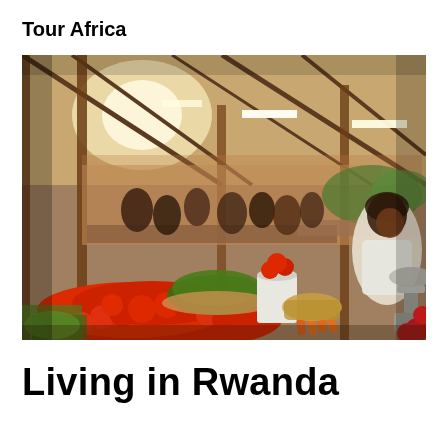Tour Africa
[Figure (photo): Indoor African market scene showing vendors and shoppers surrounded by abundant fresh produce including large piles of red tomatoes, green vegetables, carrots, and other fruits and vegetables on display tables. The market has a corrugated metal roof with steel support beams and fluorescent lighting. A woman vendor is visible on the right side near a weighing scale. The market hall is crowded with people shopping in the background.]
Living in Rwanda